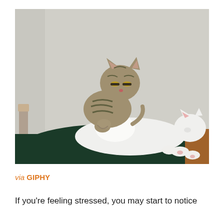[Figure (photo): A tabby cat standing on top of a white cat that is lying on its back on a dark green surface. The tabby appears to be kneading or pressing down on the white cat. Background is a light gray/beige wall with some items visible in the left corner.]
via GIPHY
If you're feeling stressed, you may start to notice